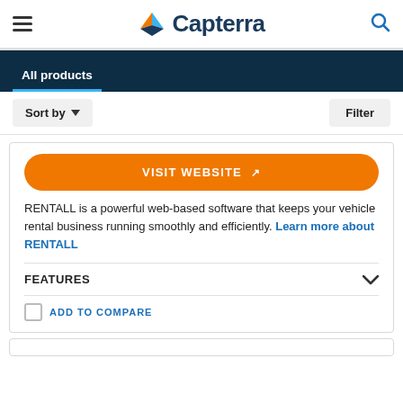Capterra
All products
Sort by  Filter
VISIT WEBSITE
RENTALL is a powerful web-based software that keeps your vehicle rental business running smoothly and efficiently. Learn more about RENTALL
FEATURES
ADD TO COMPARE